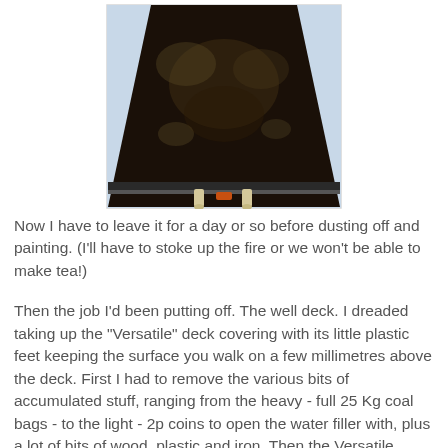[Figure (photo): Close-up photo showing the dark, grimy underside of a boat's well deck structure, appearing blackened and dirty, viewed from below looking upward in a triangular/trapezoidal shape. Two pale/yellow-tipped items are visible at the bottom.]
Now I have to leave it for a day or so before dusting off and painting. (I'll have to stoke up the fire or we won't be able to make tea!)
Then the job I'd been putting off. The well deck. I dreaded taking up the "Versatile" deck covering with its little plastic feet keeping the surface you walk on a few millimetres above the deck. First I had to remove the various bits of accumulated stuff, ranging from the heavy - full 25 Kg coal bags - to the light - 2p coins to open the water filler with, plus a lot of bits of wood, plastic and iron. Then the Versatile matting came up. Underneath was quite as bad as I had feared. The tiles' little feet had worn through the paint